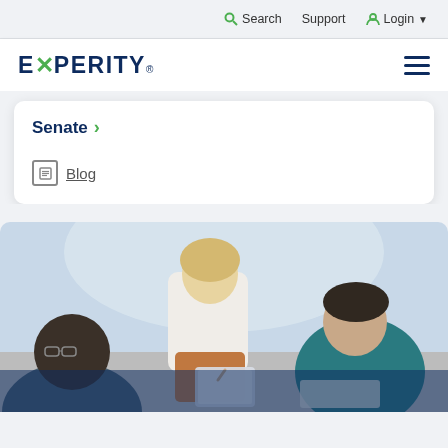Search  Support  Login
[Figure (logo): Experity logo with green X mark and registered trademark symbol]
Senate ›
Blog
[Figure (photo): Three people collaborating at a table — a blonde woman standing and leaning over pointing at a tablet, a woman with glasses seated on the left, and a man in a teal shirt on the right]